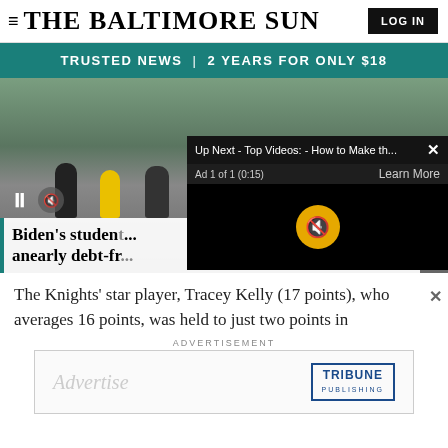THE BALTIMORE SUN
TRUSTED NEWS | 2 YEARS FOR ONLY $18
[Figure (screenshot): News article page screenshot showing a crowd photo with video player overlay, 'Up Next - Top Videos: - How to Make th...' popup with ad timer 'Ad 1 of 1 (0:15)' and 'Learn More' button, muted video icon, and headline overlay 'Biden's student... nearly debt-fr...' partially visible]
The Knights' star player, Tracey Kelly (17 points), who averages 16 points, was held to just two points in
ADVERTISEMENT
[Figure (other): Advertisement box with 'Advertise' text and TRIBUNE PUBLISHING logo]